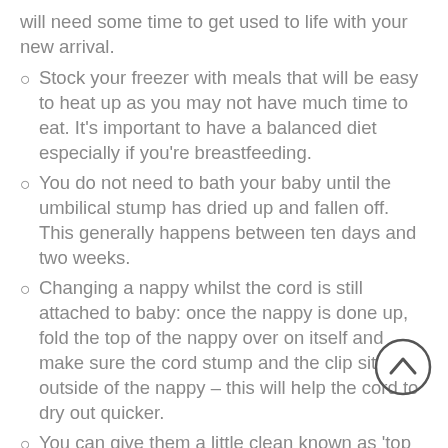will need some time to get used to life with your new arrival.
Stock your freezer with meals that will be easy to heat up as you may not have much time to eat. It's important to have a balanced diet especially if you're breastfeeding.
You do not need to bath your baby until the umbilical stump has dried up and fallen off. This generally happens between ten days and two weeks.
Changing a nappy whilst the cord is still attached to baby: once the nappy is done up, fold the top of the nappy over on itself and make sure the cord stump and the clip sit outside of the nappy – this will help the cord to dry out quicker.
You can give them a little clean known as 'top and tailing' every day or every other day. You will need two bowls of warm water and some cotton wool pads. Use one bowl to clean the baby from the waist down (tail)